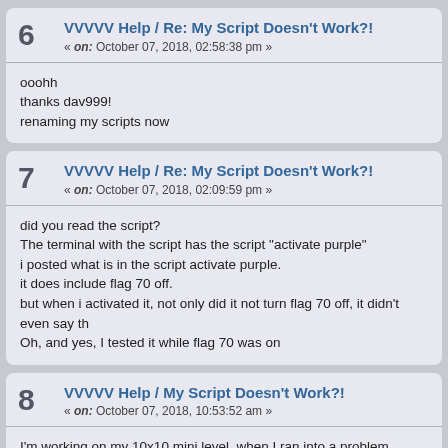6 VVVVV Help / Re: My Script Doesn't Work?! « on: October 07, 2018, 02:58:38 pm »
ooohh
thanks dav999!
renaming my scripts now
7 VVVVV Help / Re: My Script Doesn't Work?! « on: October 07, 2018, 02:09:59 pm »
did you read the script?
The terminal with the script has the script "activate purple"
i posted what is in the script activate purple.
it does include flag 70 off.
but when i activated it, not only did it not turn flag 70 off, it didn't even say th
Oh, and yes, I tested it while flag 70 was on
8 VVVVV Help / My Script Doesn't Work?! « on: October 07, 2018, 10:53:52 am »
I'm working on my 10x10 mini level, when I ran into a problem...